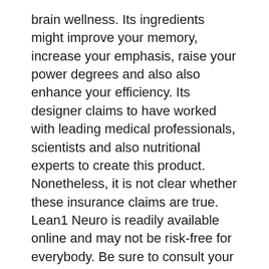brain wellness. Its ingredients might improve your memory, increase your emphasis, raise your power degrees and also also enhance your efficiency. Its designer claims to have worked with leading medical professionals, scientists and also nutritional experts to create this product. Nonetheless, it is not clear whether these insurance claims are true. Lean1 Neuro is readily available online and may not be risk-free for everybody. Be sure to consult your physician prior to purchasing.
Pure Neuro
Pure Neuro is a brain health supplement developed to improve the performance of mind cells and extend attention period. Made